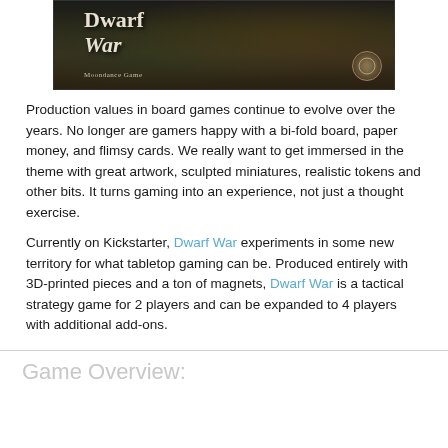[Figure (illustration): Game box cover art for 'Dwarf War' by Moondance Game, showing dark fantasy artwork with the title in decorative serif font and a moon/crescent badge logo in the bottom right corner.]
Production values in board games continue to evolve over the years. No longer are gamers happy with a bi-fold board, paper money, and flimsy cards. We really want to get immersed in the theme with great artwork, sculpted miniatures, realistic tokens and other bits. It turns gaming into an experience, not just a thought exercise.
Currently on Kickstarter, Dwarf War experiments in some new territory for what tabletop gaming can be. Produced entirely with 3D-printed pieces and a ton of magnets, Dwarf War is a tactical strategy game for 2 players and can be expanded to 4 players with additional add-ons.
Game Overview: